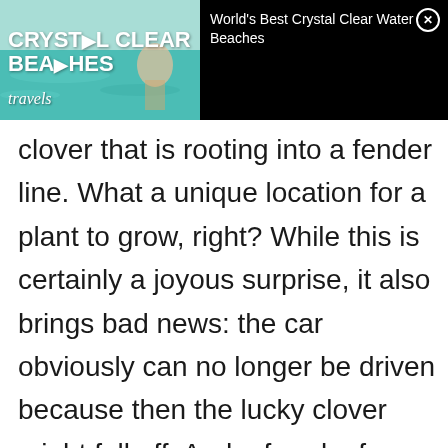[Figure (screenshot): Advertisement banner for 'World's Best Crystal Clear Water Beaches' video. Left side shows a thumbnail with text 'CRYSTAL CLEAR BEACHES' and 'travels' on a beach/ocean background. Right side shows black background with title 'World's Best Crystal Clear Water Beaches' and a close (X) button.]
clover that is rooting into a fender line. What a unique location for a plant to grow, right? While this is certainly a joyous surprise, it also brings bad news: the car obviously can no longer be driven because then the lucky clover might fall off. And a four-leaf clover falling off after